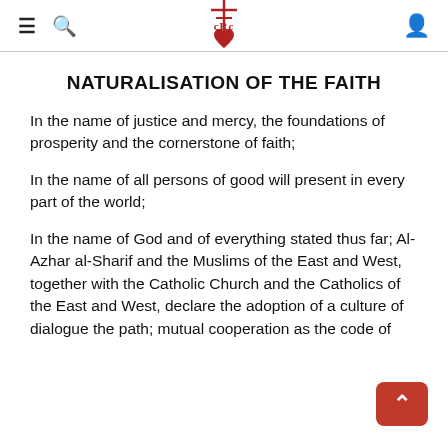≡ 🔍 [CRC logo] 👤
NATURALISATION OF THE FAITH
In the name of justice and mercy, the foundations of prosperity and the cornerstone of faith;
In the name of all persons of good will present in every part of the world;
In the name of God and of everything stated thus far; Al-Azhar al-Sharif and the Muslims of the East and West, together with the Catholic Church and the Catholics of the East and West, declare the adoption of a culture of dialogue the path; mutual cooperation as the code of